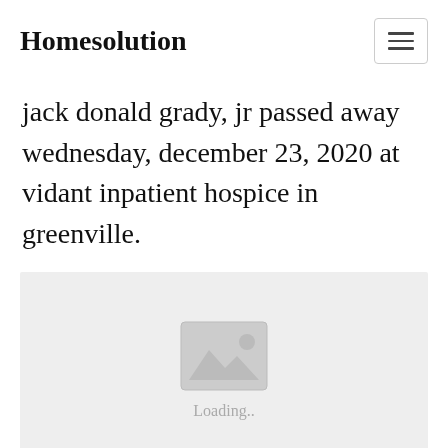Homesolution
jack donald grady, jr passed away wednesday, december 23, 2020 at vidant inpatient hospice in greenville.
[Figure (photo): Image placeholder with a mountain/image icon and 'Loading..' text on a light grey background]